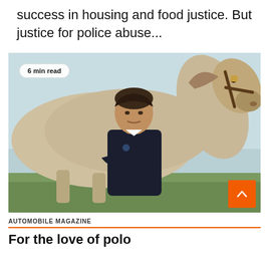success in housing and food justice. But justice for police abuse...
[Figure (photo): A young man in a dark polo shirt with arms crossed leans forward in front of a large light-colored horse. The background is an outdoor field with sky. A '6 min read' badge appears in the top left of the image. An orange scroll-up button appears in the bottom right corner.]
AUTOMOBILE MAGAZINE
For the love of polo